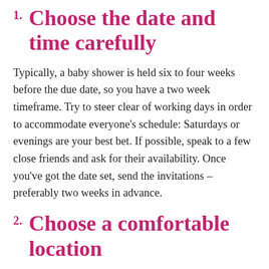1. Choose the date and time carefully
Typically, a baby shower is held six to four weeks before the due date, so you have a two week timeframe. Try to steer clear of working days in order to accommodate everyone’s schedule: Saturdays or evenings are your best bet. If possible, speak to a few close friends and ask for their availability. Once you’ve got the date set, send the invitations – preferably two weeks in advance.
2. Choose a comfortable location
A mother-to-be won’t feel too comfy on rigid restaurant chairs, so, if you can’t find a suitable venue, why not host it at home? If the weather permits, an outdoors baby shower will be lovely!